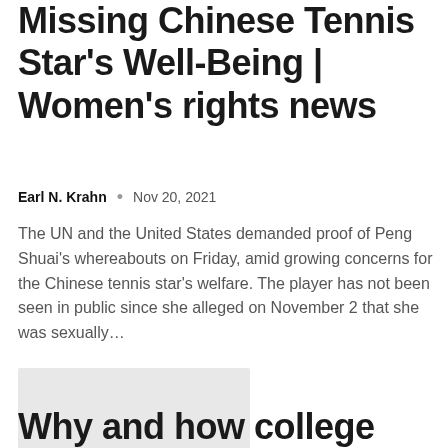Missing Chinese Tennis Star's Well-Being | Women's rights news
Earl N. Krahn  •  Nov 20, 2021
The UN and the United States demanded proof of Peng Shuai's whereabouts on Friday, amid growing concerns for the Chinese tennis star's welfare. The player has not been seen in public since she alleged on November 2 that she was sexually...
[Figure (photo): Gray placeholder image block]
Why and how college